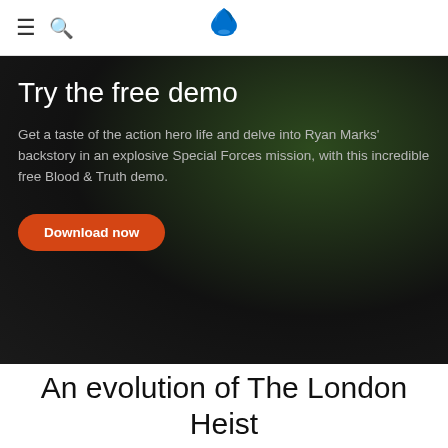≡  🔍  [PlayStation Logo]
Try the free demo
Get a taste of the action hero life and delve into Ryan Marks' backstory in an explosive Special Forces mission, with this incredible free Blood & Truth demo.
Download now
An evolution of The London Heist